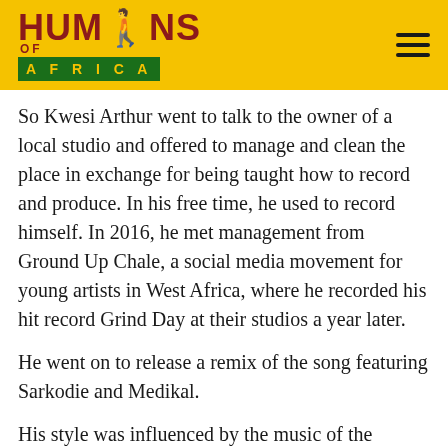HUMANS OF AFRICA
So Kwesi Arthur went to talk to the owner of a local studio and offered to manage and clean the place in exchange for being taught how to record and produce. In his free time, he used to record himself. In 2016, he met management from Ground Up Chale, a social media movement for young artists in West Africa, where he recorded his hit record Grind Day at their studios a year later.
He went on to release a remix of the song featuring Sarkodie and Medikal.
His style was influenced by the music of the Canadian rapper Drake.
“His lyrics were so relatable to us. People usually brag with rap. It was usually about unrelatable stories to us.